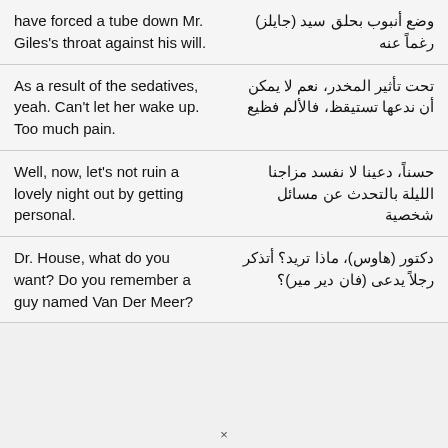| English | Arabic |
| --- | --- |
| have forced a tube down Mr. Giles's throat against his will. | وضع أنبوب بحلق سيد (جايلز) رغماً عنه |
| As a result of the sedatives, yeah. Can't let her wake up. Too much pain. | تحت تأثير المخدر، نعم لا يمكن أن ندعها تستيقظ، فالألم فظيع |
| Well, now, let's not ruin a lovely night out by getting personal. | حسناً، دعينا لا نفسد مزاجنا الليلة بالتحدث عن مسائل شخصية |
| Dr. House, what do you want? Do you remember a guy named Van Der Meer? | دكتور (هاوس)، ماذا تريد؟ أتذكر رجلاً يدعى (فان دير مير)؟ |
×